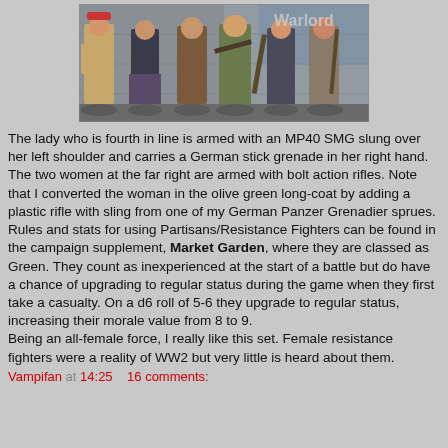[Figure (photo): A row of painted miniature figurines of women/female resistance fighters posed in front of a graffiti-covered wall background.]
The lady who is fourth in line is armed with an MP40 SMG slung over her left shoulder and carries a German stick grenade in her right hand. The two women at the far right are armed with bolt action rifles. Note that I converted the woman in the olive green long-coat by adding a plastic rifle with sling from one of my German Panzer Grenadier sprues. Rules and stats for using Partisans/Resistance Fighters can be found in the campaign supplement, Market Garden, where they are classed as Green. They count as inexperienced at the start of a battle but do have a chance of upgrading to regular status during the game when they first take a casualty. On a d6 roll of 5-6 they upgrade to regular status, increasing their morale value from 8 to 9.
Being an all-female force, I really like this set. Female resistance fighters were a reality of WW2 but very little is heard about them.
Vampifan at 14:25   16 comments: